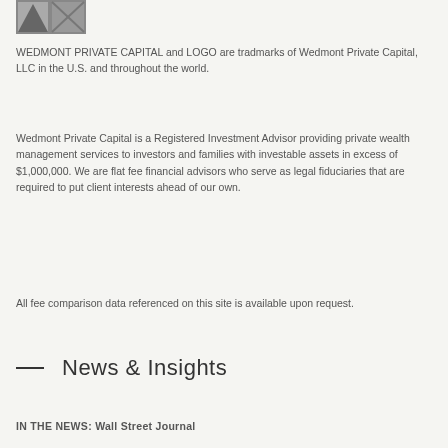[Figure (logo): Wedmont Private Capital logo — small rectangular image in top left corner]
WEDMONT PRIVATE CAPITAL and LOGO are tradmarks of Wedmont Private Capital, LLC in the U.S. and throughout the world.
Wedmont Private Capital is a Registered Investment Advisor providing private wealth management services to investors and families with investable assets in excess of $1,000,000. We are flat fee financial advisors who serve as legal fiduciaries that are required to put client interests ahead of our own.
All fee comparison data referenced on this site is available upon request.
— News & Insights
IN THE NEWS: Wall Street Journal